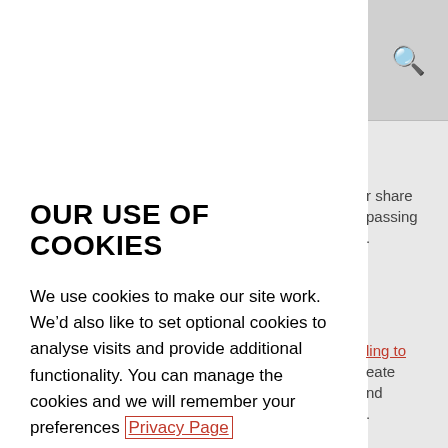[Figure (screenshot): Right sidebar with search icon at top, grey background, and partial article text snippets visible]
OUR USE OF COOKIES
We use cookies to make our site work. We’d also like to set optional cookies to analyse visits and provide additional functionality. You can manage the cookies and we will remember your preferences Privacy Page